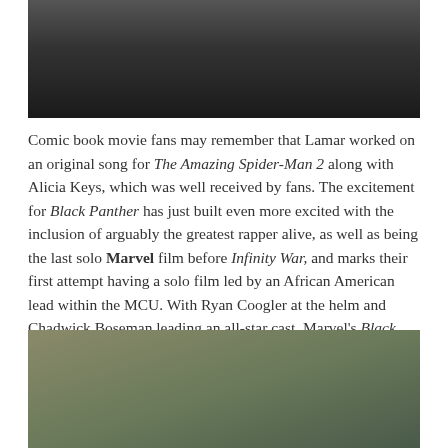[Figure (photo): Top portion of a photo showing figures in dark clothing against a wall background]
Comic book movie fans may remember that Lamar worked on an original song for The Amazing Spider-Man 2 along with Alicia Keys, which was well received by fans. The excitement for Black Panther has just built even more excited with the inclusion of arguably the greatest rapper alive, as well as being the last solo Marvel film before Infinity War, and marks their first attempt having a solo film led by an African American lead within the MCU. With Ryan Coogler at the helm and Chadwick Boseman leading an all-star cast, Marvel's Black Panther is shaping up to be one of 2018's most anticipated films. If one things for sure, Coogler has guaranteed theaters will be packed when this one hits theaters February 16th.
[Figure (photo): Bottom portion showing two people outdoors near rocks, one wearing a blue beanie hat]